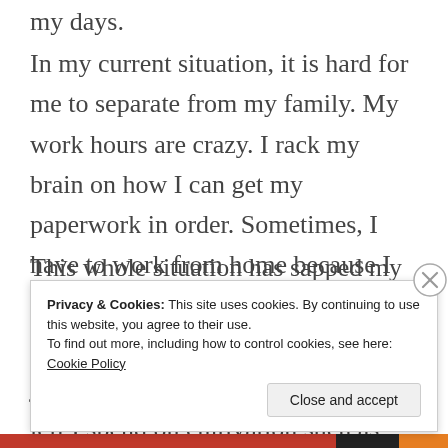my days.
In my current situation, it is hard for me to separate from my family. My work hours are crazy. I rack my brain on how I can get my paperwork in order. Sometimes, I have to work from home because I don’t have access to a car!
This whole situation has sapped my energy and willpower. At this moment, I work. I work a full time job and what little free time I have left I spend on cultivation such as qigong, exercise, and reading. I
Privacy & Cookies: This site uses cookies. By continuing to use this website, you agree to their use.
To find out more, including how to control cookies, see here: Cookie Policy
Close and accept